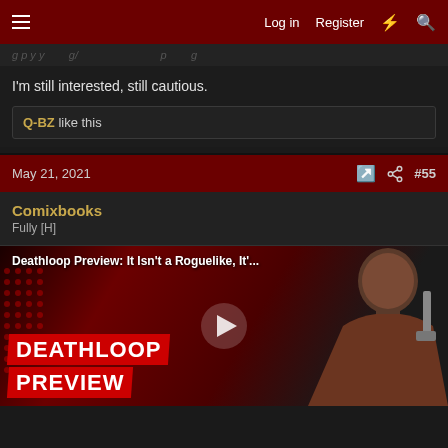Log in | Register
I'm still interested, still cautious.
Q-BZ like this
May 21, 2021  #55
Comixbooks
Fully [H]
[Figure (screenshot): Deathloop Preview video thumbnail showing a character holding a gun with red Deathloop Preview text overlay and play button]